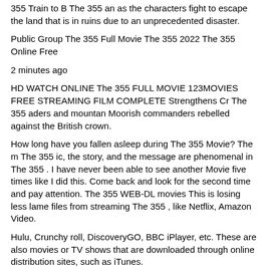355 Train to B The 355 an as the characters fight to escape the land that is in ruins due to an unprecedented disaster.
Public Group The 355 Full Movie The 355 2022 The 355 Online Free
2 minutes ago
HD WATCH ONLINE The 355 FULL MOVIE 123MOVIES FREE STREAMING FILM COMPLETE Strengthens Cr The 355 aders and mountan Moorish commanders rebelled against the British crown.
How long have you fallen asleep during The 355 Movie? The m The 355 ic, the story, and the message are phenomenal in The 355 . I have never been able to see another Movie five times like I did this. Come back and look for the second time and pay attention. The 355 WEB-DL movies This is losing less lame files from streaming The 355 , like Netflix, Amazon Video.
Hulu, Crunchy roll, DiscoveryGO, BBC iPlayer, etc. These are also movies or TV shows that are downloaded through online distribution sites, such as iTunes.